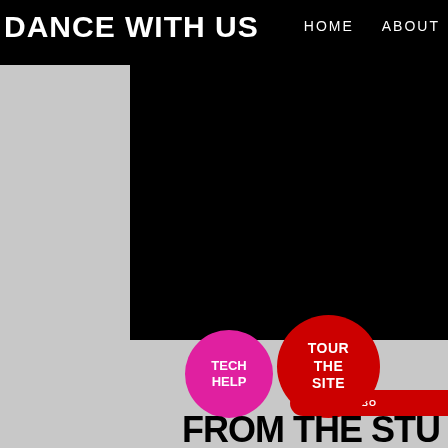DANCE WITH US
HOME   ABOUT
[Figure (screenshot): Website screenshot showing a dance studio homepage with black background, gray panels, two dancer photos, a male dancer in leopard print on right, two dancers in contact on lower left, red and pink circular buttons labeled TOUR THE SITE and TECH HELP, and partial text FROM THE STU at bottom]
TOUR THE SITE
TECH HELP
FROM THE STU